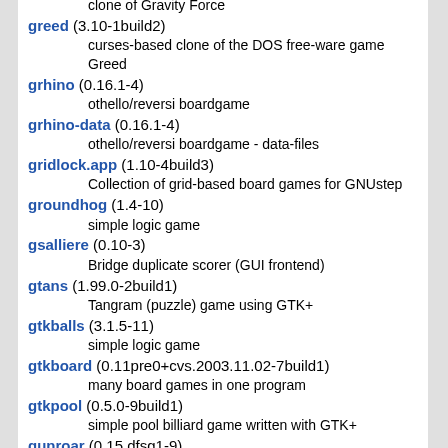greed (3.10-1build2)
    curses-based clone of the DOS free-ware game Greed
grhino (0.16.1-4)
    othello/reversi boardgame
grhino-data (0.16.1-4)
    othello/reversi boardgame - data-files
gridlock.app (1.10-4build3)
    Collection of grid-based board games for GNUstep
groundhog (1.4-10)
    simple logic game
gsalliere (0.10-3)
    Bridge duplicate scorer (GUI frontend)
gtans (1.99.0-2build1)
    Tangram (puzzle) game using GTK+
gtkballs (3.1.5-11)
    simple logic game
gtkboard (0.11pre0+cvs.2003.11.02-7build1)
    many board games in one program
gtkpool (0.5.0-9build1)
    simple pool billiard game written with GTK+
gunroar (0.15.dfsg1-9)
    360-degree gunboat shooter
gunroar-data (0.15.dfsg1-9)
    360-degree gunboat shooter - game data